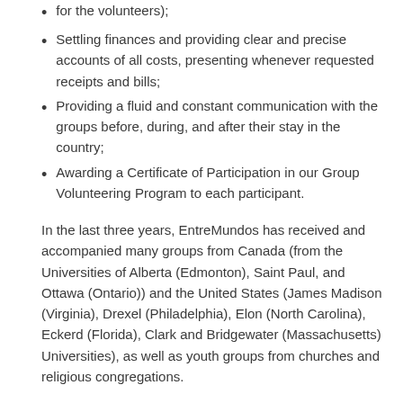for the volunteers);
Settling finances and providing clear and precise accounts of all costs, presenting whenever requested receipts and bills;
Providing a fluid and constant communication with the groups before, during, and after their stay in the country;
Awarding a Certificate of Participation in our Group Volunteering Program to each participant.
In the last three years, EntreMundos has received and accompanied many groups from Canada (from the Universities of Alberta (Edmonton), Saint Paul, and Ottawa (Ontario)) and the United States (James Madison (Virginia), Drexel (Philadelphia), Elon (North Carolina), Eckerd (Florida), Clark and Bridgewater (Massachusetts) Universities), as well as youth groups from churches and religious congregations.